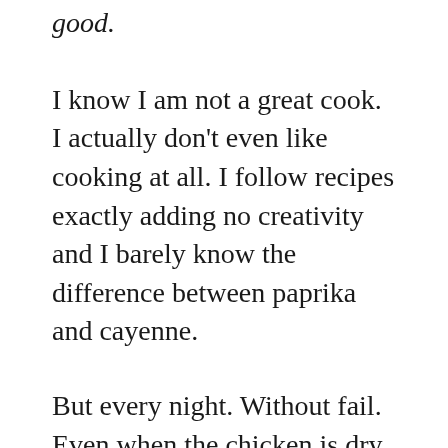good.
I know I am not a great cook. I actually don't even like cooking at all. I follow recipes exactly adding no creativity and I barely know the difference between paprika and cayenne.
But every night. Without fail. Even when the chicken is dry or the vegetables are too soggy. My husband compliments my food and encourages my sons to do so as well by intentionally modeling kindness.